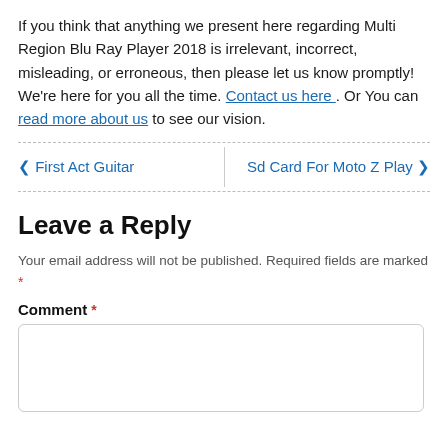If you think that anything we present here regarding Multi Region Blu Ray Player 2018 is irrelevant, incorrect, misleading, or erroneous, then please let us know promptly! We're here for you all the time. Contact us here . Or You can read more about us to see our vision.
< First Act Guitar
Sd Card For Moto Z Play >
Leave a Reply
Your email address will not be published. Required fields are marked *
Comment *